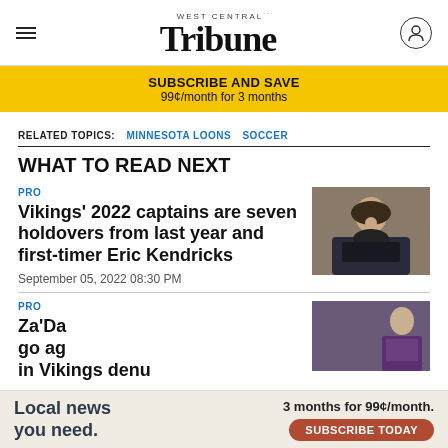West Central Tribune (logo) — hamburger menu and user icon
SUBSCRIBE AND SAVE
99¢/month for 3 months
RELATED TOPICS: MINNESOTA LOONS  SOCCER
WHAT TO READ NEXT
PRO
Vikings' 2022 captains are seven holdovers from last year and first-timer Eric Kendricks
September 05, 2022 08:30 PM
[Figure (photo): Photo of a man with curly hair smiling, wearing a black t-shirt, in a stadium setting]
PRO
Za'Da... go ag... in Vikings denu...
[Figure (photo): Photo of a player in Vikings uniform]
Local news you need.  3 months for 99¢/month.  SUBSCRIBE TODAY